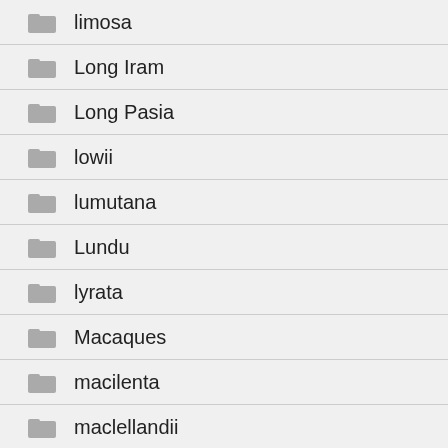limosa
Long Iram
Long Pasia
lowii
lumutana
Lundu
lyrata
Macaques
macilenta
maclellandii